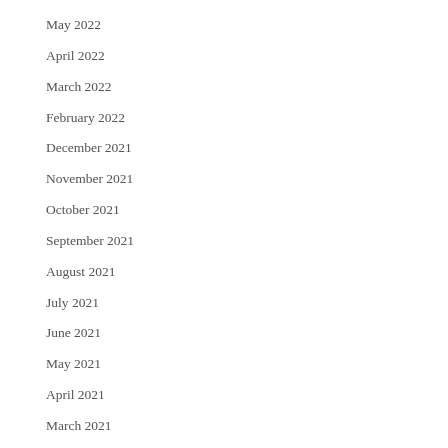May 2022
April 2022
March 2022
February 2022
December 2021
November 2021
October 2021
September 2021
August 2021
July 2021
June 2021
May 2021
April 2021
March 2021